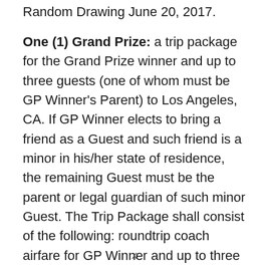Random Drawing June 20, 2017.
One (1) Grand Prize: a trip package for the Grand Prize winner and up to three guests (one of whom must be GP Winner's Parent) to Los Angeles, CA. If GP Winner elects to bring a friend as a Guest and such friend is a minor in his/her state of residence, the remaining Guest must be the parent or legal guardian of such minor Guest. The Trip Package shall consist of the following: roundtrip coach airfare for GP Winner and up to three Guests from the major airport nearest the GP Winner's residence to Los Angeles, CA; five days/four nights standard
x